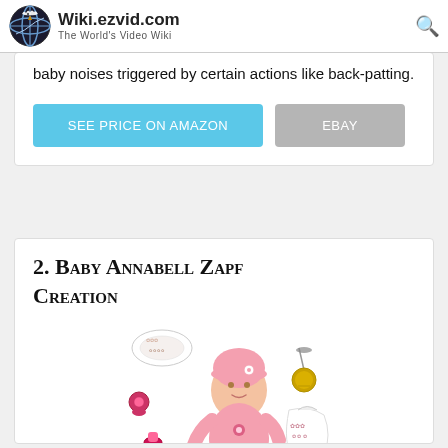Wiki.ezvid.com - The World's Video Wiki
baby noises triggered by certain actions like back-patting.
SEE PRICE ON AMAZON | EBAY
2. Baby Annabell Zapf Creation
[Figure (photo): Baby Annabell Zapf Creation doll in pink outfit with accessories including diaper, pacifier, bottle, bell rattle, and floral bib]